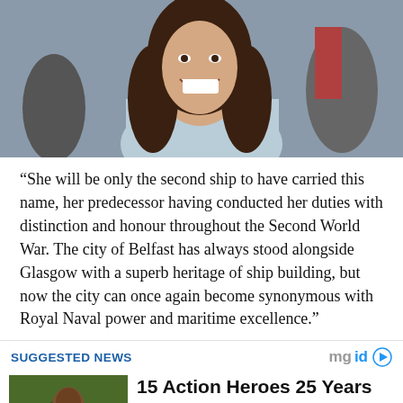[Figure (photo): Woman with long dark hair laughing, wearing light blue top, crowd in background]
“She will be only the second ship to have carried this name, her predecessor having conducted her duties with distinction and honour throughout the Second World War. The city of Belfast has always stood alongside Glasgow with a superb heritage of ship building, but now the city can once again become synonymous with Royal Naval power and maritime excellence.”
SUGGESTED NEWS
[Figure (photo): Thumbnail image of animal in nature setting]
15 Action Heroes 25 Years Ago And Now